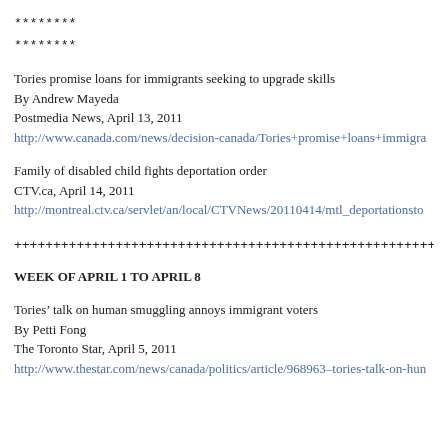********
********
Tories promise loans for immigrants seeking to upgrade skills
By Andrew Mayeda
Postmedia News, April 13, 2011
http://www.canada.com/news/decision-canada/Tories+promise+loans+immigra
Family of disabled child fights deportation order
CTV.ca, April 14, 2011
http://montreal.ctv.ca/servlet/an/local/CTVNews/20110414/mtl_deportationsto
+++++++++++++++++++++++++++++++++++++++++++++++++++++++
WEEK OF APRIL 1 TO APRIL 8
Tories’ talk on human smuggling annoys immigrant voters
By Petti Fong
The Toronto Star, April 5, 2011
http://www.thestar.com/news/canada/politics/article/968963–tories-talk-on-hun